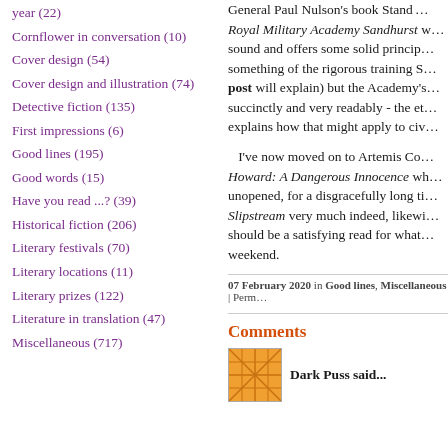year (22)
Cornflower in conversation (10)
Cover design (54)
Cover design and illustration (74)
Detective fiction (135)
First impressions (6)
Good lines (195)
Good words (15)
Have you read ...? (39)
Historical fiction (206)
Literary festivals (70)
Literary locations (11)
Literary prizes (122)
Literature in translation (47)
Miscellaneous (717)
General Paul Nulson's book Stand ... Royal Military Academy Sandhurst w... sound and offers some solid princip... something of the rigorous training S... post will explain) but the Academy's... succinctly and very readably - the et... explains how that might apply to civ...
I've now moved on to Artemis Co... Howard: A Dangerous Innocence wh... unopened, for a disgracefully long ti... Slipstream very much indeed, likewi... should be a satisfying read for what... weekend.
07 February 2020 in Good lines, Miscellaneous | Perm...
Comments
Dark Puss said...